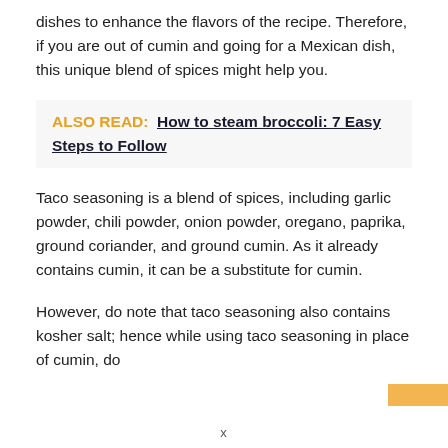dishes to enhance the flavors of the recipe. Therefore, if you are out of cumin and going for a Mexican dish, this unique blend of spices might help you.
ALSO READ:  How to steam broccoli: 7 Easy Steps to Follow
Taco seasoning is a blend of spices, including garlic powder, chili powder, onion powder, oregano, paprika, ground coriander, and ground cumin. As it already contains cumin, it can be a substitute for cumin.
However, do note that taco seasoning also contains kosher salt; hence while using taco seasoning in place of cumin, do